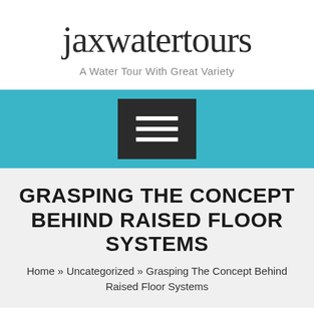jaxwatertours
A Water Tour With Great Variety
[Figure (screenshot): Navigation bar with teal/cyan background containing a hamburger menu icon (three horizontal white lines) on a dark background button]
GRASPING THE CONCEPT BEHIND RAISED FLOOR SYSTEMS
Home » Uncategorized » Grasping The Concept Behind Raised Floor Systems